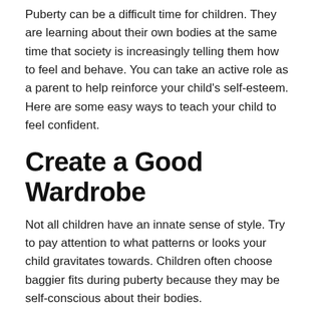Puberty can be a difficult time for children. They are learning about their own bodies at the same time that society is increasingly telling them how to feel and behave. You can take an active role as a parent to help reinforce your child's self-esteem. Here are some easy ways to teach your child to feel confident.
Create a Good Wardrobe
Not all children have an innate sense of style. Try to pay attention to what patterns or looks your child gravitates towards. Children often choose baggier fits during puberty because they may be self-conscious about their bodies.